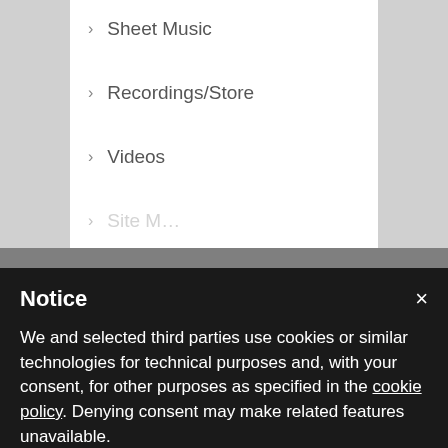Sheet Music
Recordings/Store
Videos
Site M...
Notice
We and selected third parties use cookies or similar technologies for technical purposes and, with your consent, for other purposes as specified in the cookie policy. Denying consent may make related features unavailable.
You can consent to the use of such technologies by using the “Accept” button, by closing this notice, by scrolling this page, by interacting with any link or button outside of this notice or by continuing to browse otherwise.
Accept
Learn more and customize